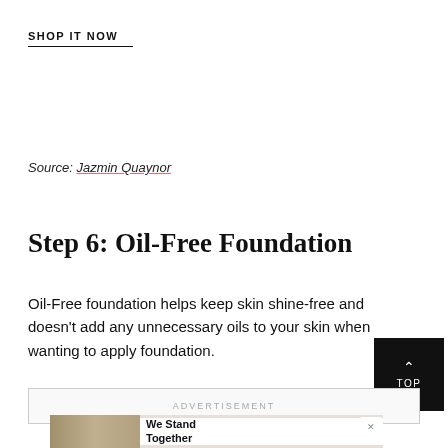SHOP IT NOW
Source: Jazmin Quaynor
Step 6: Oil-Free Foundation
Oil-Free foundation helps keep skin shine-free and doesn't add any unnecessary oils to your skin when wanting to apply foundation.
ADVERTISEMENT